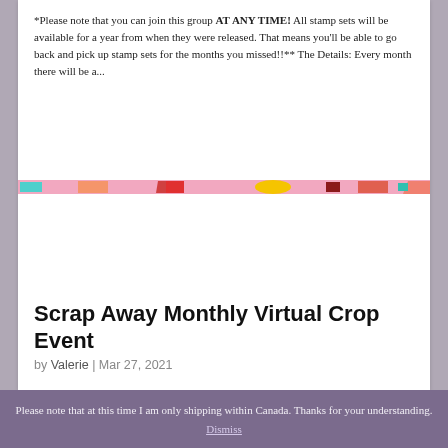*Please note that you can join this group AT ANY TIME! All stamp sets will be available for a year from when they were released. That means you'll be able to go back and pick up stamp sets for the months you missed!!** The Details: Every month there will be a...
[Figure (illustration): A thin horizontal banner strip with colorful geometric shapes on a pink background — including teal, orange, red, yellow, and dark red rectangles and fragments.]
Scrap Away Monthly Virtual Crop Event
by Valerie | Mar 27, 2021
Please note that at this time I am only shipping within Canada. Thanks for your understanding.
Dismiss